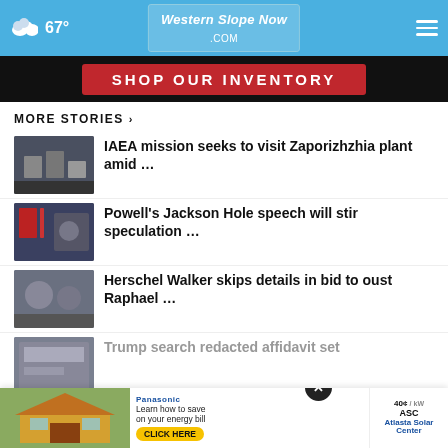67° Western Slope Now .com
[Figure (screenshot): Ad banner with red background and white text: SHOP OUR INVENTORY]
MORE STORIES ›
IAEA mission seeks to visit Zaporizhzhia plant amid …
Powell's Jackson Hole speech will stir speculation …
Herschel Walker skips details in bid to oust Raphael …
Trump search redacted affidavit set
'90210' actor, Joe E. Tata dies at 85
[Figure (screenshot): Bottom advertisement: Panasonic solar + Atlasta Solar Center - Learn how to save on your energy bill. CLICK HERE. ASC Atlasta Solar Center.]